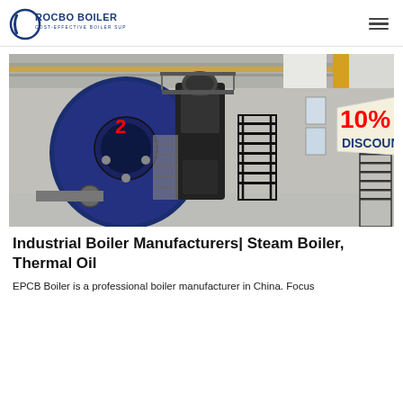ROCBO BOILER — COST-EFFECTIVE BOILER SUPPLIER
[Figure (photo): Industrial boiler facility showing large blue cylindrical steam boiler with number 2 marked on it, a vertical black boiler unit in the center, metal staircases, yellow pipes, and a '10% DISCOUNT' promotional tag in the upper right corner.]
Industrial Boiler Manufacturers| Steam Boiler, Thermal Oil
EPCB Boiler is a professional boiler manufacturer in China. Focus